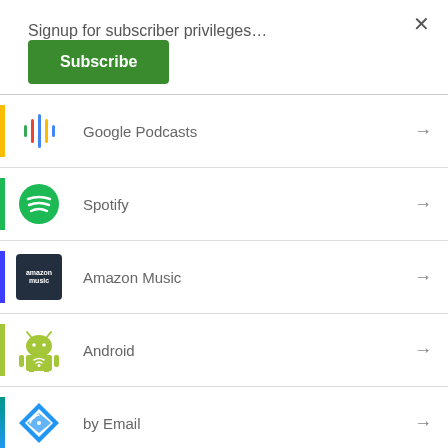Signup for subscriber privileges…
Subscribe
Google Podcasts
Spotify
Amazon Music
Android
by Email
RSS